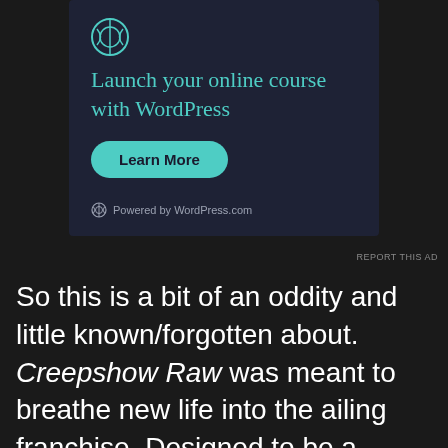[Figure (other): WordPress.com advertisement: 'Launch your online course with WordPress' with a teal Learn More button and Powered by WordPress.com footer]
REPORT THIS AD
So this is a bit of an oddity and little known/forgotten about. Creepshow Raw was meant to breathe new life into the ailing franchise. Designed to be a rebirth and broadcast on the interwebs as an online web series. The idea never really took off and only one episode was